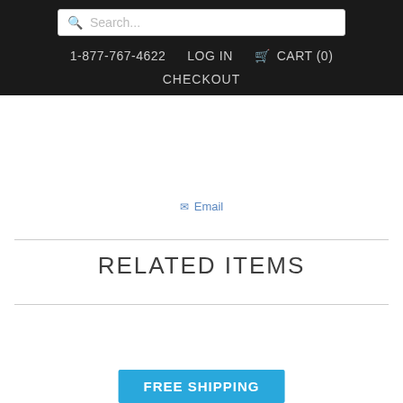Search... | 1-877-767-4622 | LOG IN | CART (0) | CHECKOUT
Email
RELATED ITEMS
[Figure (infographic): FREE SHIPPING banner in blue/teal background at bottom of page]